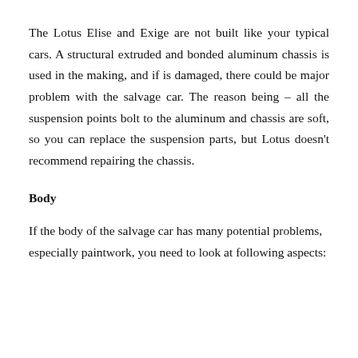The Lotus Elise and Exige are not built like your typical cars. A structural extruded and bonded aluminum chassis is used in the making, and if is damaged, there could be major problem with the salvage car. The reason being – all the suspension points bolt to the aluminum and chassis are soft, so you can replace the suspension parts, but Lotus doesn't recommend repairing the chassis.
Body
If the body of the salvage car has many potential problems, especially paintwork, you need to look at following aspects: